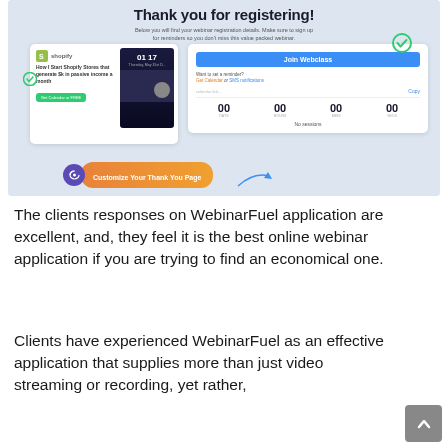[Figure (screenshot): Screenshot of a WebinarFuel thank you page registration confirmation, showing a Shopify webinar card, countdown timer, 'Join Webclass' button, calendar/SMS reminders, and a 'Customize Your Thank You Page' button with an arrow.]
The clients responses on WebinarFuel application are excellent, and, they feel it is the best online webinar application if you are trying to find an economical one.
Clients have experienced WebinarFuel as an effective application that supplies more than just video streaming or recording, yet rather,